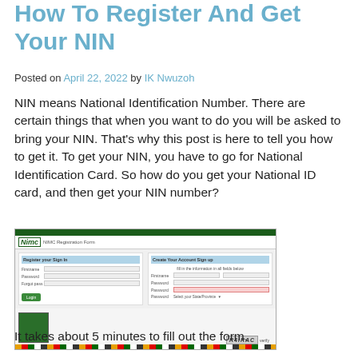How To Register And Get Your NIN
Posted on April 22, 2022 by IK Nwuzoh
NIN means National Identification Number. There are certain things that when you want to do you will be asked to bring your NIN. That’s why this post is here to tell you how to get it. To get your NIN, you have to go for National Identification Card. So how do you get your National ID card, and then get your NIN number?
[Figure (screenshot): Screenshot of NIMC (National Identity Management Commission) online registration form showing two columns of form fields for registering and getting a NIN, with a green submit button, fingerprint thumbnail, CAPTCHA, and a colorful progress bar at the bottom.]
It takes about 5 minutes to fill out the form.